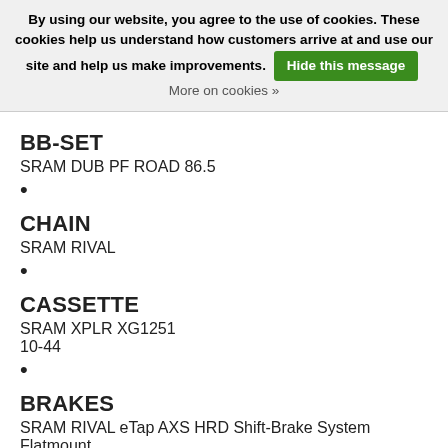By using our website, you agree to the use of cookies. These cookies help us understand how customers arrive at and use our site and help us make improvements. Hide this message More on cookies »
BB-SET
SRAM DUB PF ROAD 86.5
•
CHAIN
SRAM RIVAL
•
CASSETTE
SRAM XPLR XG1251
10-44
•
BRAKES
SRAM RIVAL eTap AXS HRD Shift-Brake System Flatmount